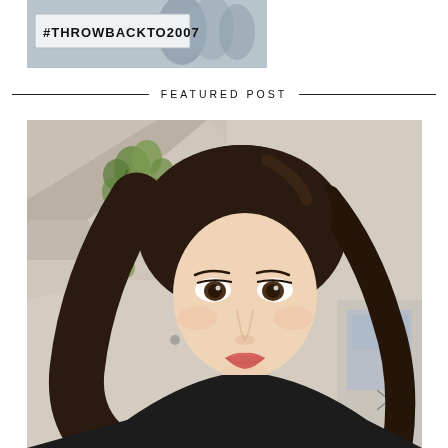[Figure (screenshot): A thumbnail image with text overlay '#THROWBACKTO2007' against a background showing two people]
FEATURED POST
[Figure (photo): A selfie portrait of a young Asian woman with long dark brown wavy hair, wearing minimal makeup with pinkish lips, taken indoors with green plants and beige walls visible in the background]